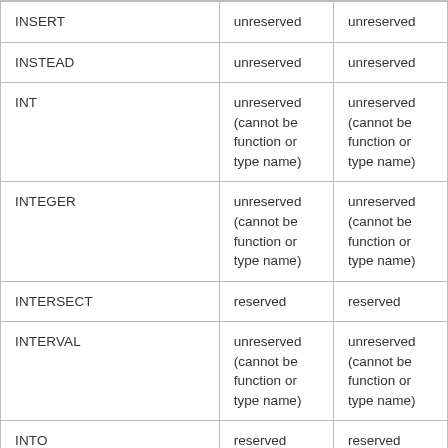| INSERT | unreserved | unreserved |
| INSTEAD | unreserved | unreserved |
| INT | unreserved (cannot be function or type name) | unreserved (cannot be function or type name) |
| INTEGER | unreserved (cannot be function or type name) | unreserved (cannot be function or type name) |
| INTERSECT | reserved | reserved |
| INTERVAL | unreserved (cannot be function or type name) | unreserved (cannot be function or type name) |
| INTO | reserved | reserved |